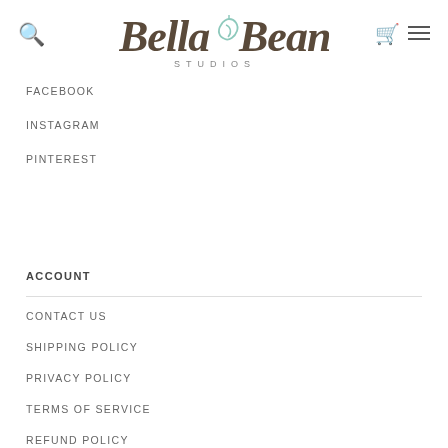[Figure (logo): Bella Bean Studios logo with decorative script text and a mint green bean/leaf icon]
FACEBOOK
INSTAGRAM
PINTEREST
ACCOUNT
CONTACT US
SHIPPING POLICY
PRIVACY POLICY
TERMS OF SERVICE
REFUND POLICY